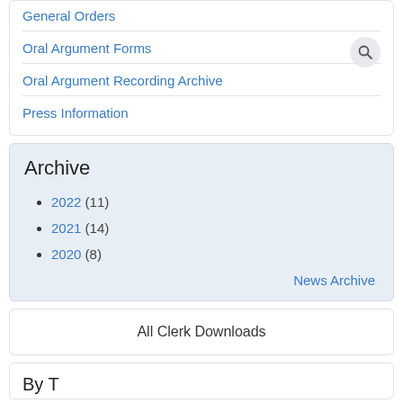General Orders
Oral Argument Forms
Oral Argument Recording Archive
Press Information
Archive
2022 (11)
2021 (14)
2020 (8)
News Archive
All Clerk Downloads
By T...